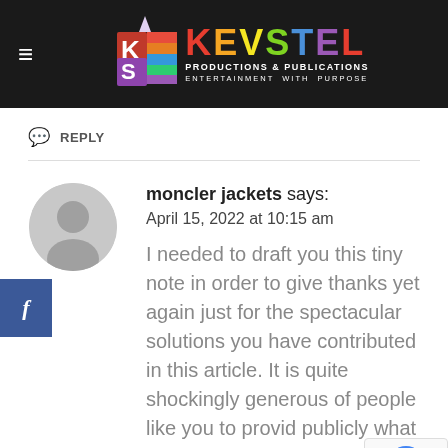[Figure (logo): Kevstel Productions & Publications logo with hamburger menu icon on dark navbar]
REPLY
moncler jackets says:
April 15, 2022 at 10:15 am
I needed to draft you this tiny note in order to give thanks yet again just for the spectacular solutions you have contributed in this article. It is quite shockingly generous of people like you to provid publicly what exactly a f people might have made